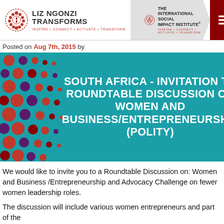LIZ NGONZI TRANSFORMS | THE INTERNATIONAL SOCIAL IMPACT INSTITUTE
Posted on Aug 7th, 2015 by
[Figure (illustration): Hero banner with teal background and colorful dot pattern on the left showing text: SOUTH AFRICA - INVITATION TO ROUNDTABLE DISCUSSION ON WOMEN AND BUSINESS/ENTREPRENEURSHIP (POLITY)]
We would like to invite you to a Roundtable Discussion on: Women and Business /Entrepreneurship and Advocacy Challenge on fewer women leadership roles.
The discussion will include various women entrepreneurs and part of the